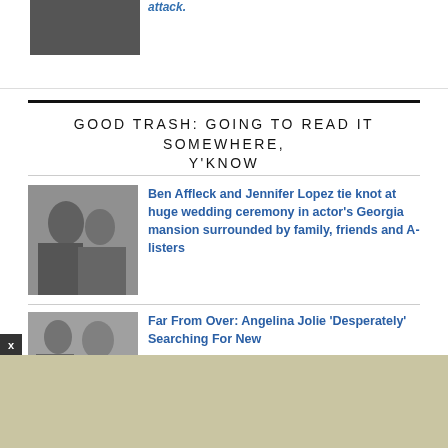[Figure (photo): Grayscale partial photo of a person, cropped at top of page]
attack.
GOOD TRASH: GOING TO READ IT SOMEWHERE, Y'KNOW
[Figure (photo): Black and white photo of Ben Affleck and Jennifer Lopez]
Ben Affleck and Jennifer Lopez tie knot at huge wedding ceremony in actor's Georgia mansion surrounded by family, friends and A-listers
[Figure (photo): Photo of Angelina Jolie with others]
Far From Over: Angelina Jolie 'Desperately' Searching For New